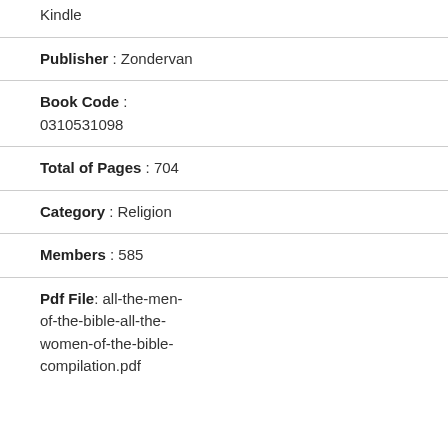Kindle
Publisher : Zondervan
Book Code : 0310531098
Total of Pages : 704
Category : Religion
Members : 585
Pdf File: all-the-men-of-the-bible-all-the-women-of-the-bible-compilation.pdf